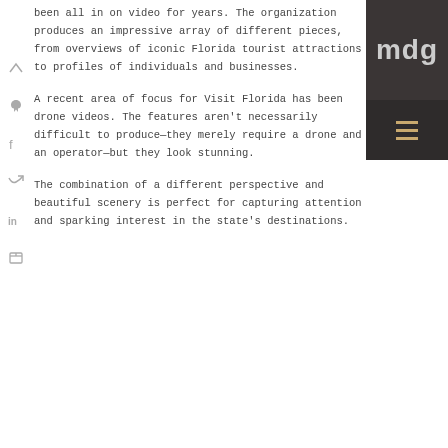been all in on video for years. The organization produces an impressive array of different pieces, from overviews of iconic Florida tourist attractions to profiles of individuals and businesses.
A recent area of focus for Visit Florida has been drone videos. The features aren't necessarily difficult to produce—they merely require a drone and an operator—but they look stunning.
The combination of a different perspective and beautiful scenery is perfect for capturing attention and sparking interest in the state's destinations.
[Figure (logo): MDG logo in dark charcoal box with hamburger menu icon below]